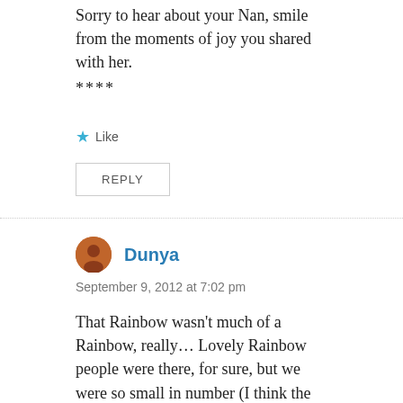Sorry to hear about your Nan, smile from the moments of joy you shared with her.
****
★ Like
REPLY
Dunya
September 9, 2012 at 7:02 pm
That Rainbow wasn't much of a Rainbow, really… Lovely Rainbow people were there, for sure, but we were so small in number (I think the core of 10 is an exaggeration!), and the Rainbow